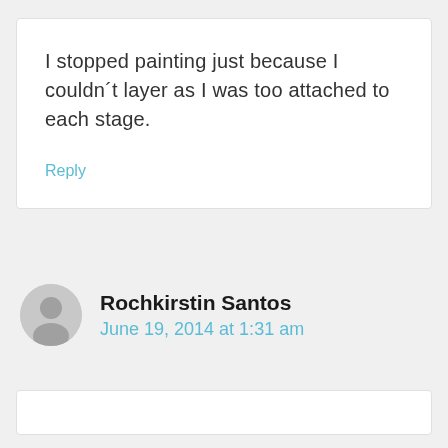I stopped painting just because I couldn´t layer as I was too attached to each stage.
Reply
Rochkirstin Santos
June 19, 2014 at 1:31 am